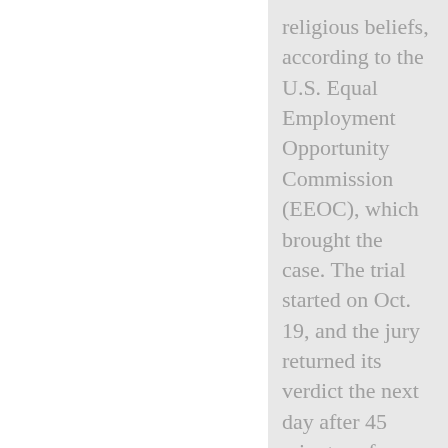religious beliefs, according to the U.S. Equal Employment Opportunity Commission (EEOC), which brought the case. The trial started on Oct. 19, and the jury returned its verdict the next day after 45 minutes of deliberation.